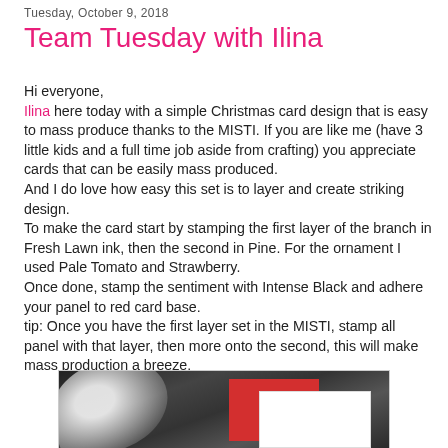Tuesday, October 9, 2018
Team Tuesday with Ilina
Hi everyone,
Ilina here today with a simple Christmas card design that is easy to mass produce thanks to the MISTI. If you are like me (have 3 little kids and a full time job aside from crafting) you appreciate cards that can be easily mass produced.
And I do love how easy this set is to layer and create striking design.
To make the card start by stamping the first layer of the branch in Fresh Lawn ink, then the second in Pine. For the ornament I used Pale Tomato and Strawberry.
Once done, stamp the sentiment with Intense Black and adhere your panel to red card base.
tip: Once you have the first layer set in the MISTI, stamp all panel with that layer, then more onto the second, this will make mass production a breeze.
[Figure (photo): Photo of a Christmas card with white branch decoration on dark wood background, with a red card base and white panel visible.]